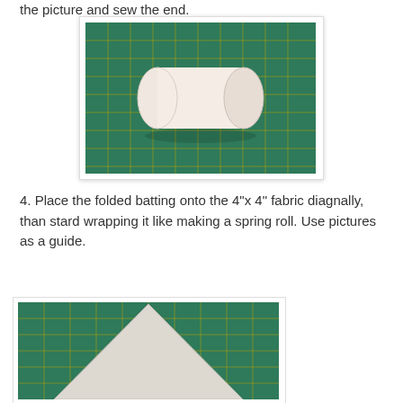the picture and sew the end.
[Figure (photo): Rolled white batting/stuffing on a green cutting mat with yellow grid lines]
4. Place the folded batting onto the 4"x 4" fabric diagnally, than stard wrapping it like making a spring roll. Use pictures as a guide.
[Figure (photo): White fabric square placed diagonally on a green cutting mat with yellow grid lines, viewed from above]